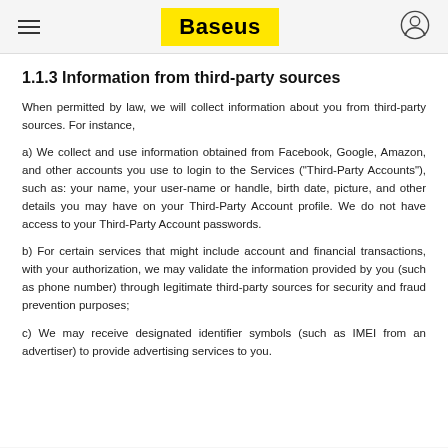Baseus
1.1.3 Information from third-party sources
When permitted by law, we will collect information about you from third-party sources. For instance,
a) We collect and use information obtained from Facebook, Google, Amazon, and other accounts you use to login to the Services (“Third-Party Accounts”), such as: your name, your user-name or handle, birth date, picture, and other details you may have on your Third-Party Account profile. We do not have access to your Third-Party Account passwords.
b) For certain services that might include account and financial transactions, with your authorization, we may validate the information provided by you (such as phone number) through legitimate third-party sources for security and fraud prevention purposes;
c) We may receive designated identifier symbols (such as IMEI from an advertiser) to provide advertising services to you.